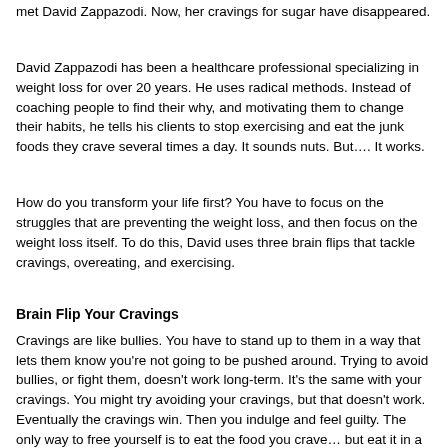met David Zappazodi. Now, her cravings for sugar have disappeared.
David Zappazodi has been a healthcare professional specializing in weight loss for over 20 years. He uses radical methods. Instead of coaching people to find their why, and motivating them to change their habits, he tells his clients to stop exercising and eat the junk foods they crave several times a day. It sounds nuts. But…. It works.
How do you transform your life first? You have to focus on the struggles that are preventing the weight loss, and then focus on the weight loss itself. To do this, David uses three brain flips that tackle cravings, overeating, and exercising.
Brain Flip Your Cravings
Cravings are like bullies. You have to stand up to them in a way that lets them know you're not going to be pushed around. Trying to avoid bullies, or fight them, doesn't work long-term. It's the same with your cravings. You might try avoiding your cravings, but that doesn't work. Eventually the cravings win. Then you indulge and feel guilty. The only way to free yourself is to eat the food you crave… but eat it in a different pattern.